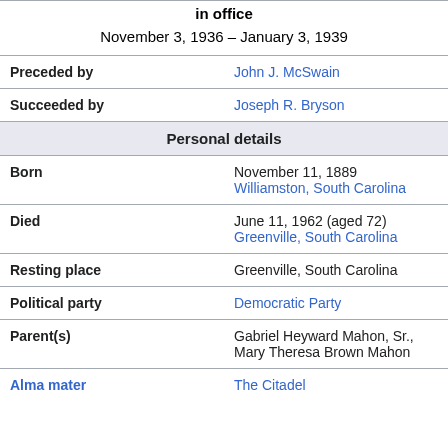| in office | November 3, 1936 – January 3, 1939 |
| Preceded by | John J. McSwain |
| Succeeded by | Joseph R. Bryson |
| Personal details |  |
| Born | November 11, 1889
Williamston, South Carolina |
| Died | June 11, 1962 (aged 72)
Greenville, South Carolina |
| Resting place | Greenville, South Carolina |
| Political party | Democratic Party |
| Parent(s) | Gabriel Heyward Mahon, Sr.,
Mary Theresa Brown Mahon |
| Alma mater | The Citadel |